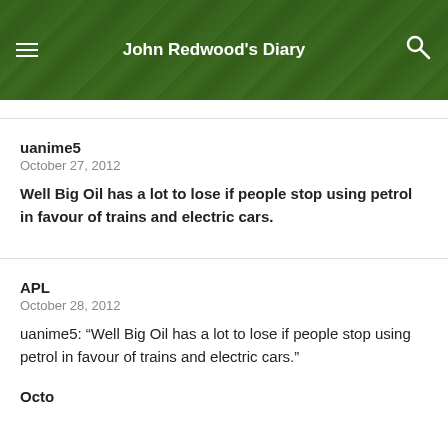John Redwood's Diary
uanime5
October 27, 2012
Well Big Oil has a lot to lose if people stop using petrol in favour of trains and electric cars.
APL
October 28, 2012
uanime5: “Well Big Oil has a lot to lose if people stop using petrol in favour of trains and electric cars.”
Octo...